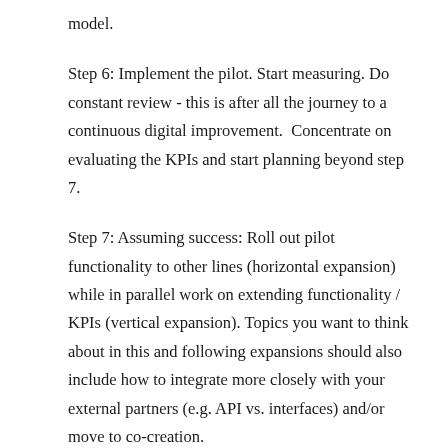model.
Step 6: Implement the pilot. Start measuring. Do constant review - this is after all the journey to a continuous digital improvement.  Concentrate on evaluating the KPIs and start planning beyond step 7.
Step 7: Assuming success: Roll out pilot functionality to other lines (horizontal expansion) while in parallel work on extending functionality / KPIs (vertical expansion). Topics you want to think about in this and following expansions should also include how to integrate more closely with your external partners (e.g. API vs. interfaces) and/or move to co-creation.